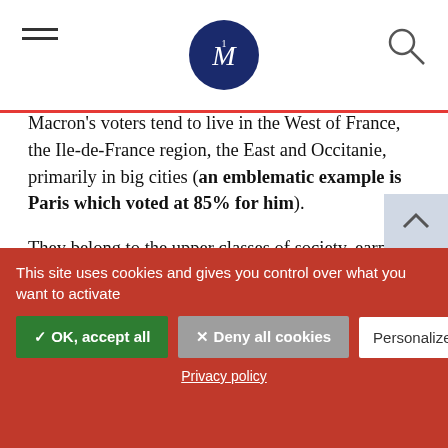M (logo)
Macron's voters tend to live in the West of France, the Ile-de-France region, the East and Occitanie, primarily in big cities (an emblematic example is Paris which voted at 85% for him).
They belong to the upper classes of society, earn more than 3,000 euros per month, and are typically graduates. On the other hand, 57% of employees, 67% of workers and 64% of the unemployed have preferred his rival,
This site uses cookies and gives you control over what you want to activate
✓ OK, accept all
✕ Deny all cookies
Personalize
Privacy policy